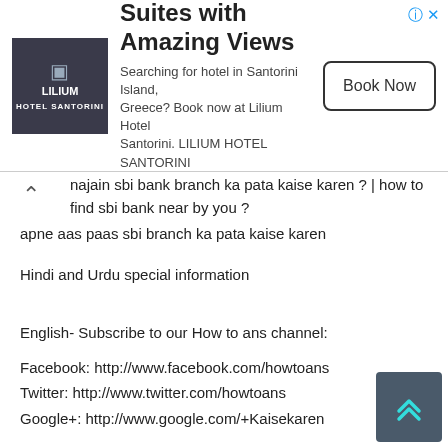[Figure (other): Advertisement banner for Lilium Hotel Santorini with logo, text 'Suites with Amazing Views', description about booking, and a 'Book Now' button]
najain sbi bank branch ka pata kaise karen ? | how to find sbi bank near by you ?
apne aas paas sbi branch ka pata kaise karen
Hindi and Urdu special information
English- Subscribe to our How to ans channel:
Facebook: http://www.facebook.com/howtoans
Twitter: http://www.twitter.com/howtoans
Google+: http://www.google.com/+Kaisekaren